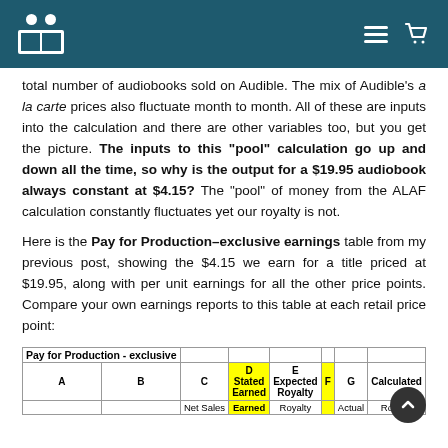[Audible logo and navigation bar]
total number of audiobooks sold on Audible. The mix of Audible's a la carte prices also fluctuate month to month. All of these are inputs into the calculation and there are other variables too, but you get the picture. The inputs to this “pool” calculation go up and down all the time, so why is the output for a $19.95 audiobook always constant at $4.15? The “pool” of money from the ALAF calculation constantly fluctuates yet our royalty is not.
Here is the Pay for Production–exclusive earnings table from my previous post, showing the $4.15 we earn for a title priced at $19.95, along with per unit earnings for all the other price points. Compare your own earnings reports to this table at each retail price point:
| A | B | C | D Stated Earned | E Expected Royalty | F | G Actual | Calculated Royalty |
| --- | --- | --- | --- | --- | --- | --- | --- |
|  |  | Net Sales | Earned | Royalty |  | Actual | Royalty |